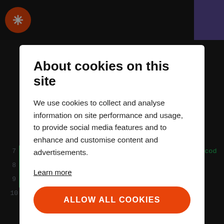[Figure (screenshot): Website screenshot showing a cookie consent modal overlay on top of a code tutorial page. The modal has a white background with title 'About cookies on this site', descriptive text, a 'Learn more' link, an orange 'ALLOW ALL COOKIES' button, and a 'Cookie settings' link. Behind the modal, partial page content is visible including truncated text and a code block with line numbers 7-10 showing Java/C# style code.]
About cookies on this site
We use cookies to collect and analyse information on site performance and usage, to provide social media features and to enhance and customise content and advertisements.
Learn more
ALLOW ALL COOKIES
Cookie settings
// Executing block of cod